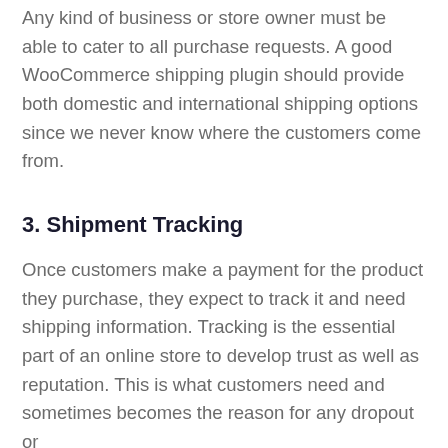Any kind of business or store owner must be able to cater to all purchase requests. A good WooCommerce shipping plugin should provide both domestic and international shipping options since we never know where the customers come from.
3. Shipment Tracking
Once customers make a payment for the product they purchase, they expect to track it and need shipping information. Tracking is the essential part of an online store to develop trust as well as reputation. This is what customers need and sometimes becomes the reason for any dropout or